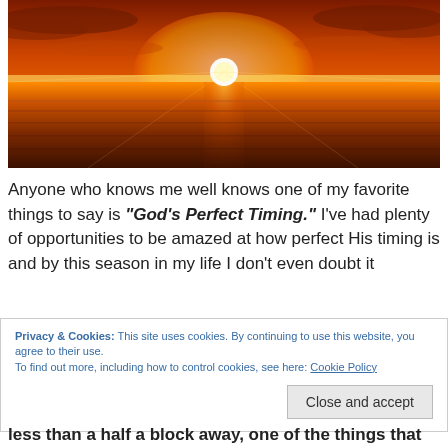[Figure (photo): Sunset over a beach/flat landscape with bright orange and yellow sun on the horizon reflecting on wet sand or shallow water, dramatic warm colors]
Anyone who knows me well knows one of my favorite things to say is “God’s Perfect Timing.” I’ve had plenty of opportunities to be amazed at how perfect His timing is and by this season in my life I don’t even doubt it
Privacy & Cookies: This site uses cookies. By continuing to use this website, you agree to their use.
To find out more, including how to control cookies, see here: Cookie Policy
less than a half a block away, one of the things that